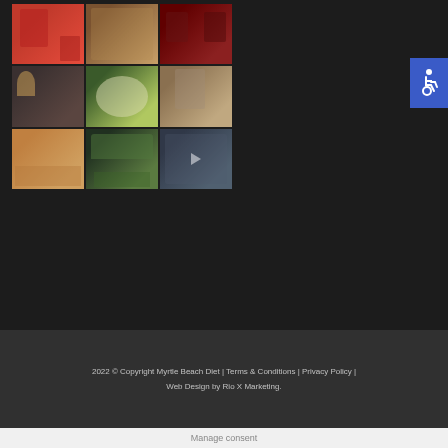[Figure (photo): 3x3 grid of Instagram-style photos showing people, food/salad bowls, flowers, a building exterior, and indoor scenes]
[Figure (other): Blue accessibility (wheelchair) icon button in the upper right corner]
2022 © Copyright Myrtle Beach Diet | Terms & Conditions | Privacy Policy | Web Design by Rio X Marketing.
Manage consent